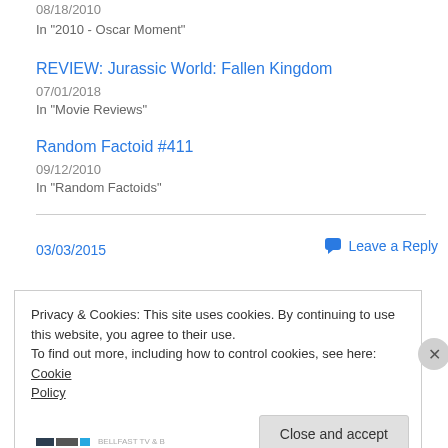08/18/2010
In "2010 - Oscar Moment"
REVIEW: Jurassic World: Fallen Kingdom
07/01/2018
In "Movie Reviews"
Random Factoid #411
09/12/2010
In "Random Factoids"
03/03/2015
Leave a Reply
Privacy & Cookies: This site uses cookies. By continuing to use this website, you agree to their use.
To find out more, including how to control cookies, see here: Cookie Policy
Close and accept